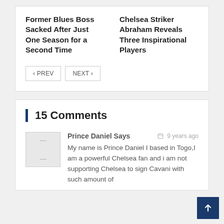Former Blues Boss Sacked After Just One Season for a Second Time
Chelsea Striker Abraham Reveals Three Inspirational Players
< PREV   NEXT >
15 Comments
Prince Daniel Says
9 years ago
My name is Prince Daniel I based in Togo,I am a powerful Chelsea fan and i am not supporting Chelsea to sign Cavani with such amount of